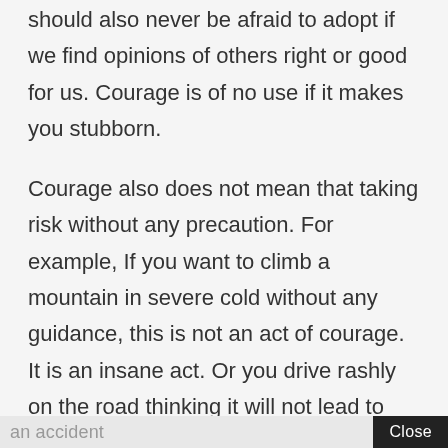should also never be afraid to adopt if we find opinions of others right or good for us. Courage is of no use if it makes you stubborn.
Courage also does not mean that taking risk without any precaution. For example, If you want to climb a mountain in severe cold without any guidance, this is not an act of courage. It is an insane act. Or you drive rashly on the road thinking it will not lead to
an accident